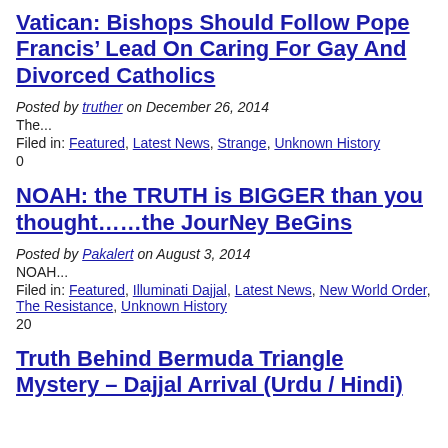Vatican: Bishops Should Follow Pope Francis’ Lead On Caring For Gay And Divorced Catholics
Posted by truther on December 26, 2014
The...
Filed in: Featured, Latest News, Strange, Unknown History
0
NOAH: the TRUTH is BIGGER than you thought……the JourNey BeGins
Posted by Pakalert on August 3, 2014
NOAH...
Filed in: Featured, Illuminati Dajjal, Latest News, New World Order, The Resistance, Unknown History
20
Truth Behind Bermuda Triangle Mystery – Dajjal Arrival (Urdu / Hindi)